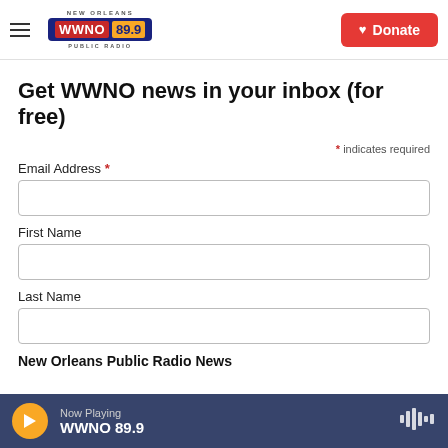WWNO 89.9 NEW ORLEANS PUBLIC RADIO — Donate
Get WWNO news in your inbox (for free)
* indicates required
Email Address *
First Name
Last Name
New Orleans Public Radio News
Now Playing WWNO 89.9